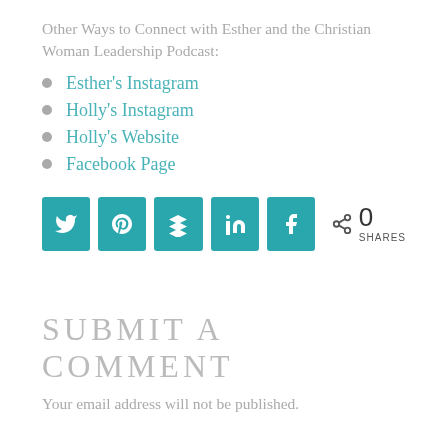Other Ways to Connect with Esther and the Christian Woman Leadership Podcast:
Esther’s Instagram
Holly’s Instagram
Holly’s Website
Facebook Page
[Figure (infographic): Social share buttons row: Twitter, Pinterest, Buffer, LinkedIn, Facebook icons in teal squares, followed by a share icon with '0 SHARES' count]
SUBMIT A COMMENT
Your email address will not be published.